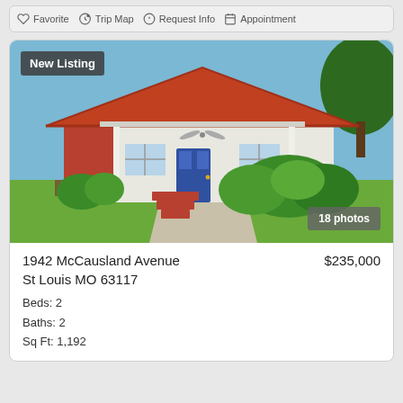Favorite  Trip Map  Request Info  Appointment
[Figure (photo): Exterior photo of a white bungalow house with red tile roof, red brick steps, blue front door, ceiling fan on porch, lush green bushes and trees, sunny day. Badge: New Listing (top left), 18 photos (bottom right).]
1942 McCausland Avenue
St Louis MO 63117
Beds: 2
Baths: 2
Sq Ft: 1,192
$235,000